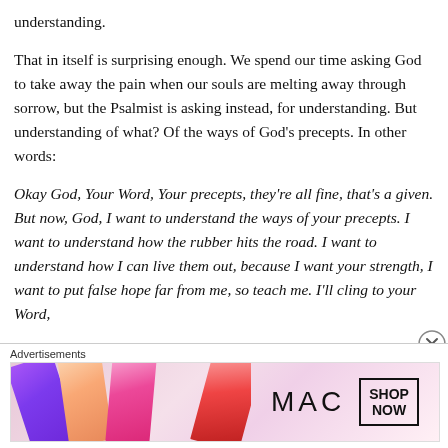understanding.
That in itself is surprising enough. We spend our time asking God to take away the pain when our souls are melting away through sorrow, but the Psalmist is asking instead, for understanding. But understanding of what? Of the ways of God’s precepts. In other words:
Okay God, Your Word, Your precepts, they’re all fine, that’s a given. But now, God, I want to understand the ways of your precepts. I want to understand how the rubber hits the road. I want to understand how I can live them out, because I want your strength, I want to put false hope far from me, so teach me. I’ll cling to your Word,
[Figure (advertisement): MAC cosmetics advertisement banner showing lipsticks and MAC logo with SHOP NOW button]